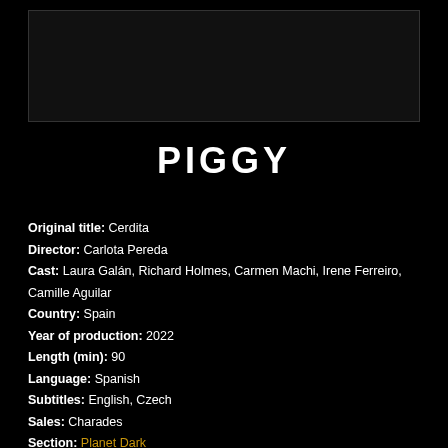[Figure (photo): Dark/black image placeholder at top of page]
PIGGY
Original title: Cerdita
Director: Carlota Pereda
Cast: Laura Galán, Richard Holmes, Carmen Machi, Irene Ferreiro, Camille Aguilar
Country: Spain
Year of production: 2022
Length (min): 90
Language: Spanish
Subtitles: English, Czech
Sales: Charades
Section: Planet Dark
Sponsors: Velvyslanectví Španělska, Instituto Cervantes